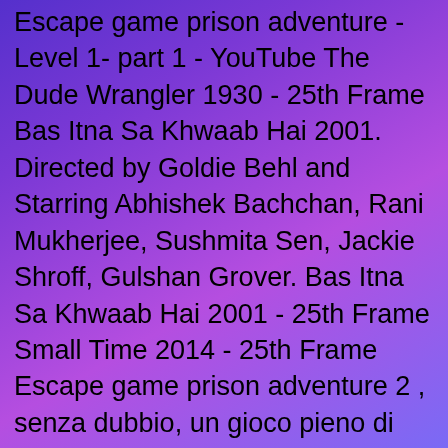Escape game prison adventure -Level 1- part 1 - YouTube The Dude Wrangler 1930 - 25th Frame Bas Itna Sa Khwaab Hai 2001. Directed by Goldie Behl and Starring Abhishek Bachchan, Rani Mukherjee, Sushmita Sen, Jackie Shroff, Gulshan Grover. Bas Itna Sa Khwaab Hai 2001 - 25th Frame Small Time 2014 - 25th Frame Escape game prison adventure 2 , senza dubbio, un gioco pieno di interessanti colpi di scena - letteralmente Il gameplay abbastanza semplice una volta. SPRING VALLEY FARM ADVENTURES iOS Soft Launch Play Free Online Games on Kizi.com - Life is Fun Kizi Ne Pomnyu 2016 - 25th Frame If you are one of those players who love playing video games full of Adventure, Thrill, Hidden Object Challenges, and Puzzles, Escape Game. UK Box Office Report Les Mis rables tops ahead of awards. Movie Box Office Database. 25thframe.co.uk Movie Box